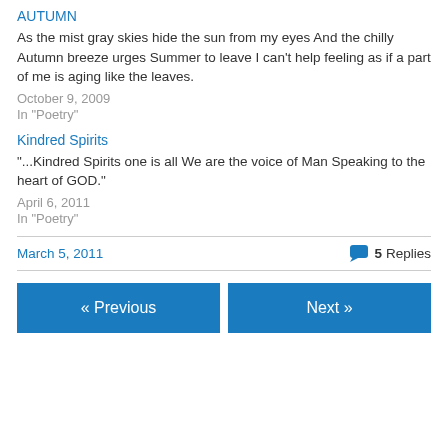AUTUMN
As the mist gray skies hide the sun from my eyes And the chilly Autumn breeze urges Summer to leave I can't help feeling as if a part of me is aging like the leaves.
October 9, 2009
In "Poetry"
Kindred Spirits
"...Kindred Spirits one is all We are the voice of Man Speaking to the heart of GOD."
April 6, 2011
In "Poetry"
March 5, 2011
5 Replies
« Previous
Next »